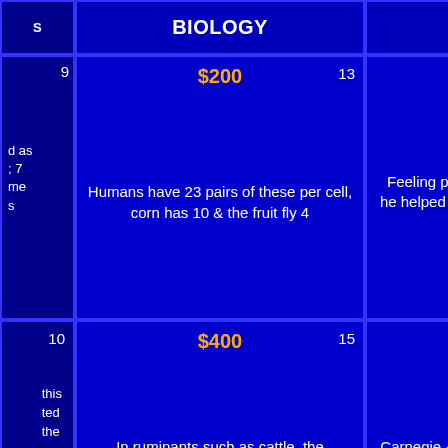| (col1) | BIOLOGY | ANDREW CARNEGIE | LITERA... |
| --- | --- | --- | --- |
| 9 | $200 13 | $200 21 | $2... |
| (clue: ...d as ...; 7 ...me ...s) | Humans have 23 pairs of these per cell, corn has 10 & the fruit fly 4 | Feeling philanthropic & philharmonic, he helped purchase over 7500 of these for churches | T.H. White t... these 6-inch ... Swift creature... Masham's... |
| 10 | $400 15 | $400 24 | $4... |
| (clue: ...this ...ted ...the ...ears) | In ruminants such as cattle, the abomasum is the fourth chamber of this organ | Carnegie & his corporation spent some $56 million to build over 2500 of these, free for public use | He continued... "Kidnapped"... book "C... |
| 11 | $600 22 | $600 25 | $6... |